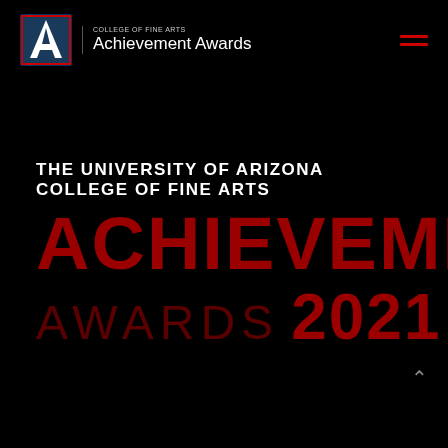[Figure (logo): University of Arizona College of Fine Arts Achievement Awards logo with UA block-A emblem and text]
THE UNIVERSITY OF ARIZONA COLLEGE OF FINE ARTS
ACHIEVEMENT AWARDS 2021